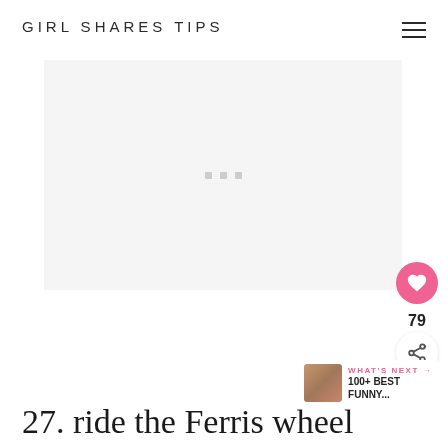GIRL SHARES TIPS
[Figure (other): Advertisement placeholder block with three small gray square dots in the center on a light gray background]
27. ride the Ferris wheel